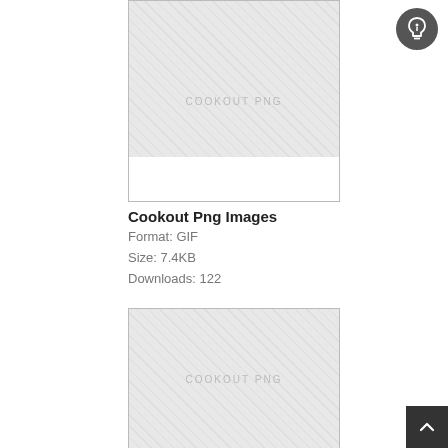[Figure (illustration): Cookout PNG image placeholder with diagonal hatch pattern and white bar at bottom]
Cookout Png Images
Format: GIF
Size: 7.4KB
Downloads: 122
[Figure (illustration): Second cookout PNG image placeholder with diagonal hatch pattern]